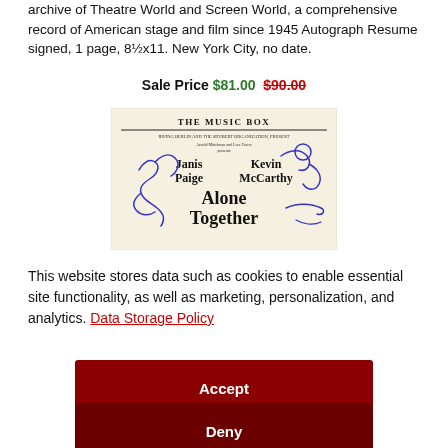archive of Theatre World and Screen World, a comprehensive record of American stage and film since 1945 Autograph Resume signed, 1 page, 8½x11. New York City, no date.
Sale Price $81.00  $90.00
[Figure (photo): Signed theatre program for 'The Music Box' featuring Janis Paige and Kevin McCarthy in 'Alone Together', with blue ink signatures.]
This website stores data such as cookies to enable essential site functionality, as well as marketing, personalization, and analytics. Data Storage Policy
Accept
Deny